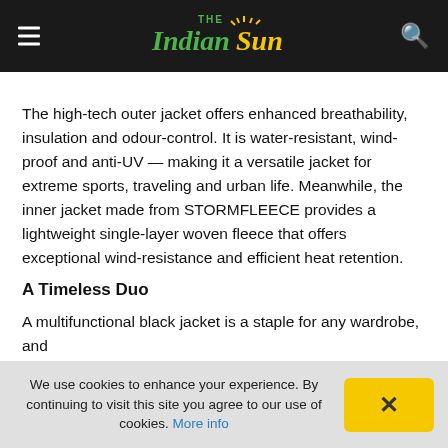The Indian Sun
The high-tech outer jacket offers enhanced breathability, insulation and odour-control. It is water-resistant, wind-proof and anti-UV — making it a versatile jacket for extreme sports, traveling and urban life. Meanwhile, the inner jacket made from STORMFLEECE provides a lightweight single-layer woven fleece that offers exceptional wind-resistance and efficient heat retention.
A Timeless Duo
A multifunctional black jacket is a staple for any wardrobe, and
We use cookies to enhance your experience. By continuing to visit this site you agree to our use of cookies. More info